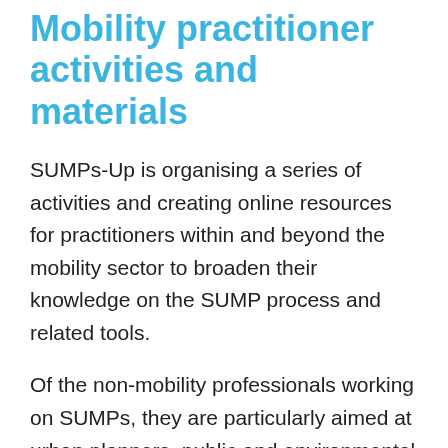Mobility practitioner activities and materials
SUMPs-Up is organising a series of activities and creating online resources for practitioners within and beyond the mobility sector to broaden their knowledge on the SUMP process and related tools.
Of the non-mobility professionals working on SUMPs, they are particularly aimed at urban planners, public and environmental health officers, city resilience officers, statisticians, engineers and architects.